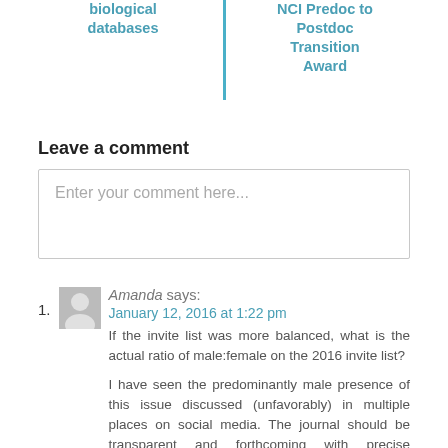biological databases
NCI Predoc to Postdoc Transition Award
Leave a comment
Enter your comment here...
1. Amanda says: January 12, 2016 at 1:22 pm
If the invite list was more balanced, what is the actual ratio of male:female on the 2016 invite list?
I have seen the predominantly male presence of this issue discussed (unfavorably) in multiple places on social media. The journal should be transparent and forthcoming with precise information on how they have